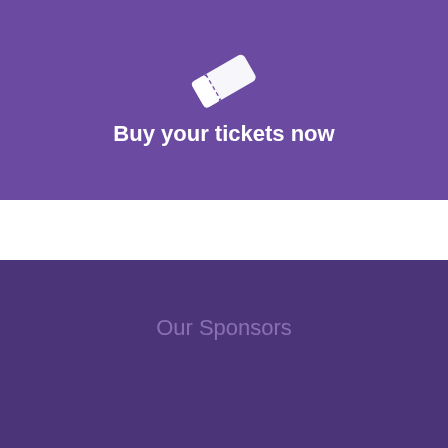[Figure (illustration): White ticket icon on purple background]
Buy your tickets now
Our Sponsors